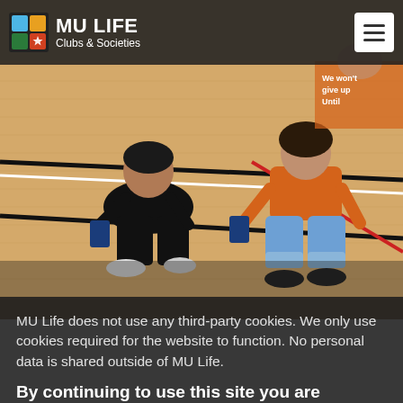MU LIFE Clubs & Societies
[Figure (photo): Two students sitting on an indoor sports court wooden floor holding charity collection tins, wearing orange t-shirts with text 'We won't give up']
MU Life does not use any third-party cookies. We only use cookies required for the website to function. No personal data is shared outside of MU Life.
By continuing to use this site you are agreeing to the MU Life Privacy Policy
Accept & Close